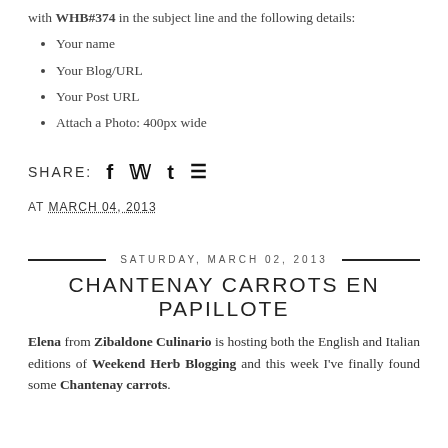with WHB#374 in the subject line and the following details:
Your name
Your Blog/URL
Your Post URL
Attach a Photo: 400px wide
SHARE: [social icons: Facebook, Twitter, Tumblr, Pinterest]
AT MARCH 04, 2013
SATURDAY, MARCH 02, 2013
CHANTENAY CARROTS EN PAPILLOTE
Elena from Zibaldone Culinario is hosting both the English and Italian editions of Weekend Herb Blogging and this week I've finally found some Chantenay carrots.